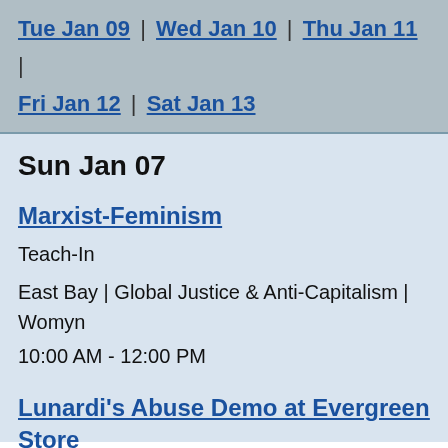Tue Jan 09 | Wed Jan 10 | Thu Jan 11 | Fri Jan 12 | Sat Jan 13
Sun Jan 07
Marxist-Feminism
Teach-In
East Bay | Global Justice & Anti-Capitalism | Womyn
10:00 AM - 12:00 PM
Lunardi's Abuse Demo at Evergreen Store
Protest
South Bay | Animal Liberation